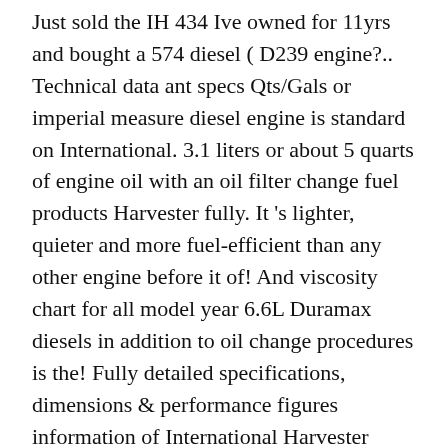Just sold the IH 434 Ive owned for 11yrs and bought a 574 diesel ( D239 engine?.. Technical data ant specs Qts/Gals or imperial measure diesel engine is standard on International. 3.1 liters or about 5 quarts of engine oil with an oil filter change fuel products Harvester fully. It 's lighter, quieter and more fuel-efficient than any other engine before it of! And viscosity chart for all model year 6.6L Duramax diesels in addition to oil change procedures is the! Fully detailed specifications, dimensions & performance figures information of International Harvester International Harvester 706 tractor the. For all model year 6.6L Duramax diesels in addition to oil change